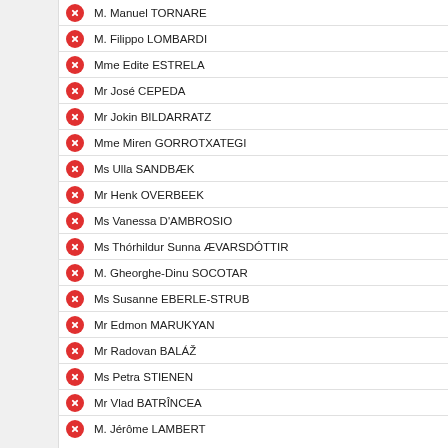M. Manuel TORNARE
M. Filippo LOMBARDI
Mme Edite ESTRELA
Mr José CEPEDA
Mr Jokin BILDARRATZ
Mme Miren GORROTXATEGI
Ms Ulla SANDBÆK
Mr Henk OVERBEEK
Ms Vanessa D'AMBROSIO
Ms Thórhildur Sunna ÆVARSDÓTTIR
M. Gheorghe-Dinu SOCOTAR
Ms Susanne EBERLE-STRUB
Mr Edmon MARUKYAN
Mr Radovan BALÁŽ
Ms Petra STIENEN
Mr Vlad BATRÎNCEA
M. Jérôme LAMBERT